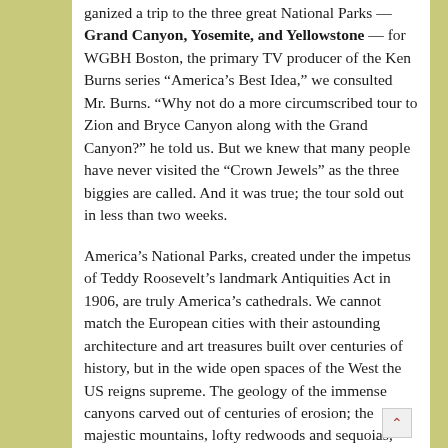ganized a trip to the three great National Parks — Grand Canyon, Yosemite, and Yellowstone — for WGBH Boston, the primary TV producer of the Ken Burns series “America’s Best Idea,” we consulted Mr. Burns. “Why not do a more circumscribed tour to Zion and Bryce Canyon along with the Grand Canyon?” he told us. But we knew that many people have never visited the “Crown Jewels” as the three biggies are called. And it was true; the tour sold out in less than two weeks.
America’s National Parks, created under the impetus of Teddy Roosevelt’s landmark Antiquities Act in 1906, are truly America’s cathedrals. We cannot match the European cities with their astounding architecture and art treasures built over centuries of history, but in the wide open spaces of the West the US reigns supreme. The geology of the immense canyons carved out of centuries of erosion; the majestic mountains, lofty redwoods and sequoias; animals in the wild. Nature in America takes your breath away!